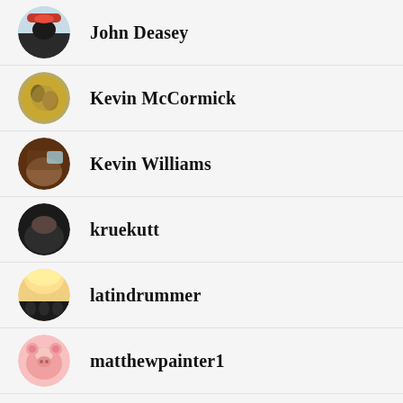John Deasey
Kevin McCormick
Kevin Williams
kruekutt
latindrummer
matthewpainter1